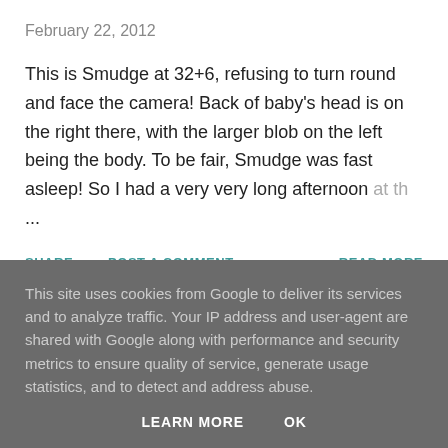February 22, 2012
This is Smudge at 32+6, refusing to turn round and face the camera! Back of baby's head is on the right there, with the larger blob on the left being the body. To be fair, Smudge was fast asleep! So I had a very very long afternoon at th …
SHARE   POST A COMMENT   READ MORE
This site uses cookies from Google to deliver its services and to analyze traffic. Your IP address and user-agent are shared with Google along with performance and security metrics to ensure quality of service, generate usage statistics, and to detect and address abuse.
LEARN MORE   OK